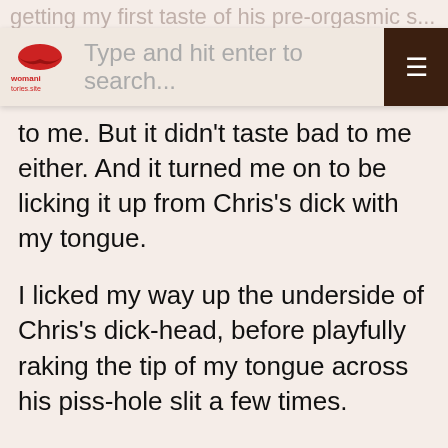getting my first taste of his pre-orgasmic s...
[Figure (screenshot): Website search bar with red lips logo on left and dark brown hamburger menu button on right, placeholder text 'Type and hit enter to search...']
to me. But it didn't taste bad to me either. And it turned me on to be licking it up from Chris's dick with my tongue.
I licked my way up the underside of Chris's dick-head, before playfully raking the tip of my tongue across his piss-hole slit a few times.
Then I used my tongue to spread my saliva all over the head of Chris's dick,